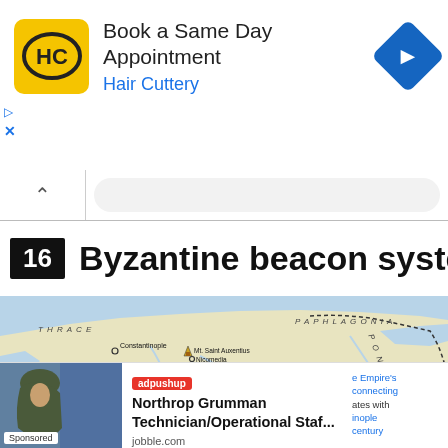[Figure (infographic): Hair Cuttery advertisement banner: HC logo in yellow square, text 'Book a Same Day Appointment' and 'Hair Cuttery' in blue, blue diamond navigation icon on right]
[Figure (screenshot): Browser navigation bar with back chevron and search/address bar]
16 Byzantine beacon system
[Figure (map): Map showing Byzantine beacon system across Asia Minor, Thrace, Pontus, Cappadocia, Cilicia, Armenia, and Upper Mesopotamia. Locations marked include Constantinople, Mt. Saint Auxentius, Nicomedia, Mt. Mokilos, BITHYNIA, Mt. Kyrizos, Dorylaion, Mt. Mamas, Aigilon, PHRYGIA, Mt. Isamos, Ancyra, Caesarea, Mt. Argaios, Loulon, Adana, Tarsus, Ephesos, Edessa. Regions labeled: THRACE, PAPHLAGONIA, PONTUS, ASIA MINOR, CAPPADOCIA, CILICIA, ARMENIA, UPPER MESOPOTAMIA.]
[Figure (infographic): adpushup sponsored ad: Northrop Grumman Technician/Operational Staf... from jobble.com, with person photo and right-side text overlay about Empire's beacon system]